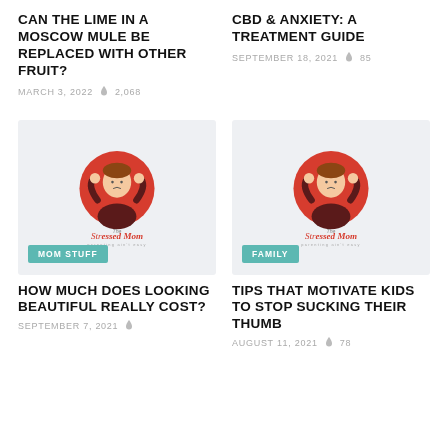CAN THE LIME IN A MOSCOW MULE BE REPLACED WITH OTHER FRUIT?
MARCH 3, 2022  🔥 2,068
CBD & ANXIETY: A TREATMENT GUIDE
SEPTEMBER 18, 2021  🔥 85
[Figure (logo): The Stressed Mom logo — stressed woman with hands on head in front of red circle, with tagline 'parenting ain't easy'. Badge: MOM STUFF]
[Figure (logo): The Stressed Mom logo — stressed woman with hands on head in front of red circle, with tagline 'parenting ain't easy'. Badge: FAMILY]
HOW MUCH DOES LOOKING BEAUTIFUL REALLY COST?
SEPTEMBER 7, 2021
TIPS THAT MOTIVATE KIDS TO STOP SUCKING THEIR THUMB
AUGUST 11, 2021  🔥 78